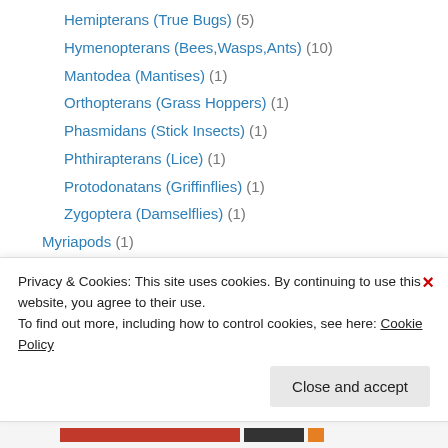Hemipterans (True Bugs) (5)
Hymenopterans (Bees,Wasps,Ants) (10)
Mantodea (Mantises) (1)
Orthopterans (Grass Hoppers) (1)
Phasmidans (Stick Insects) (1)
Phthirapterans (Lice) (1)
Protodonatans (Griffinflies) (1)
Zygoptera (Damselflies) (1)
Myriapods (1)
Chilopods (Centipedes) (1)
Trilobites (2)
Carnivals (11)
Communicating Science (4)
Privacy & Cookies: This site uses cookies. By continuing to use this website, you agree to their use. To find out more, including how to control cookies, see here: Cookie Policy